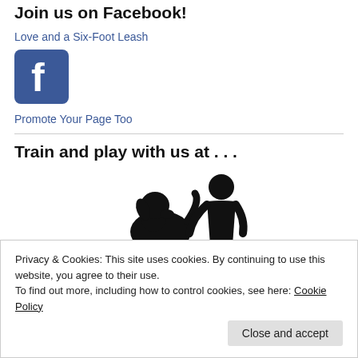Join us on Facebook!
Love and a Six-Foot Leash
[Figure (logo): Facebook logo icon — blue square with white 'f']
Promote Your Page Too
Train and play with us at . . .
[Figure (illustration): Silhouette of a person and dog side by side]
Privacy & Cookies: This site uses cookies. By continuing to use this website, you agree to their use.
To find out more, including how to control cookies, see here: Cookie Policy
Close and accept